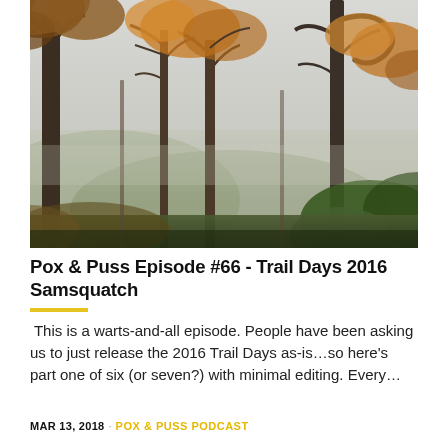[Figure (photo): Autumn forest scene with bare and leafy trees against a misty sky, taken along a trail]
Pox & Puss Episode #66 - Trail Days 2016 Samsquatch
This is a warts-and-all episode. People have been asking us to just release the 2016 Trail Days as-is...so here's part one of six (or seven?) with minimal editing. Every...
MAR 13, 2018 · POX & PUSS PODCAST